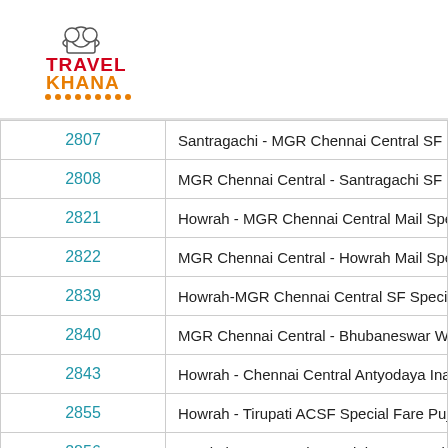[Figure (logo): TravelKhana logo with chef hat icon, TRAVEL in red and KHANA in orange, with orange dots underline]
| Number | Train Name |
| --- | --- |
| 2807 | Santragachi - MGR Chennai Central SF Spe… |
| 2808 | MGR Chennai Central - Santragachi SF Spe… |
| 2821 | Howrah - MGR Chennai Central Mail Speci… |
| 2822 | MGR Chennai Central - Howrah Mail Speci… |
| 2839 | Howrah-MGR Chennai Central SF Special |
| 2840 | MGR Chennai Central - Bhubaneswar Week… |
| 2843 | Howrah - Chennai Central Antyodaya Inau… |
| 2855 | Howrah - Tirupati ACSF Special Fare Puja… |
| 2856 | Ernakulam - Howrah Special Fare Special |
| 2863 | Howrah - Yesvantpur AC SF Special |